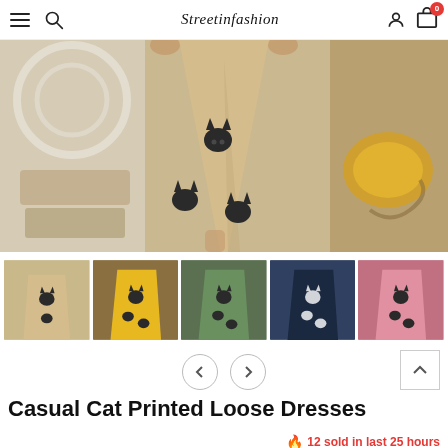Streetinfashion
[Figure (photo): Main product photo: close-up of a beige/khaki casual dress with black cat face prints, worn by a model, decorative white carved wall and gold cushion in background]
[Figure (photo): Thumbnail strip of 5 color variants of the cat printed dress: beige, yellow, green, navy, pink]
Casual Cat Printed Loose Dresses
12 sold in last 25 hours